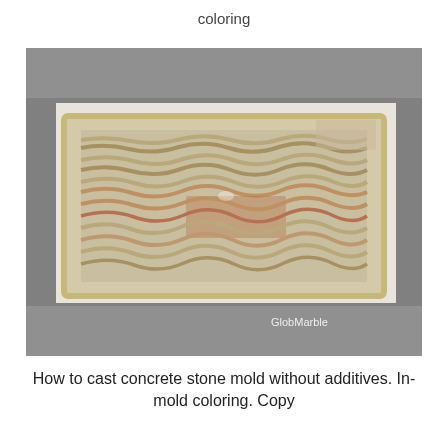coloring
[Figure (photo): A rectangular concrete stone mold with textured ridged surface interior, showing wavy stone-like pattern in cream/beige tones with brown staining, placed on a white surface. GlobMarble watermark visible in lower right corner.]
How to cast concrete stone mold without additives. In-mold coloring. Copy